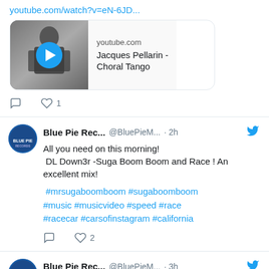youtube.com/watch?v=eN-6JD...
[Figure (screenshot): YouTube video card for Jacques Pellarin - Choral Tango with thumbnail image showing a man playing accordion and a blue play button]
♡ 1
Blue Pie Rec... @BluePieM... · 2h
All you need on this morning!
 DL Down3r -Suga Boom Boom and Race ! An excellent mix!
 #mrsugaboomboom #sugaboomboom #music #musicvideo #speed #race #racecar #carsofinstagram #california
♡ 2
Blue Pie Rec... @BluePieM... · 3h
🔥💃IT'S TIME TO DANCE 🕺🔥
Check this FIRE new music video for Key